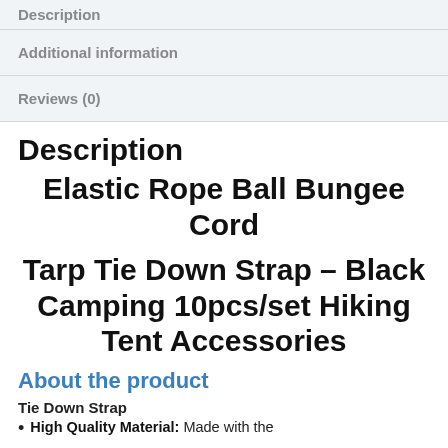Description
Additional information
Reviews (0)
Description
Elastic Rope Ball Bungee Cord
Tarp Tie Down Strap – Black Camping 10pcs/set Hiking Tent Accessories
About the product
Tie Down Strap
High Quality Material: Made with the